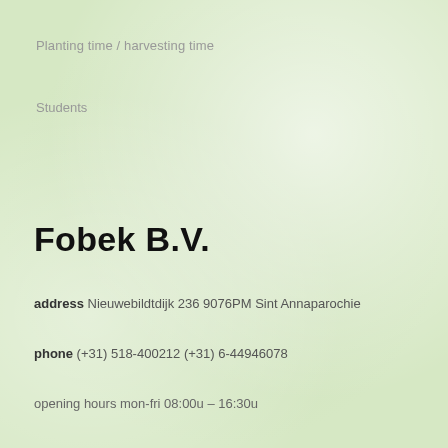Planting time / harvesting time
Students
Fobek B.V.
address Nieuwebildtdijk 236 9076PM Sint Annaparochie
phone (+31) 518-400212 (+31) 6-44946078
opening hours mon-fri 08:00u – 16:30u